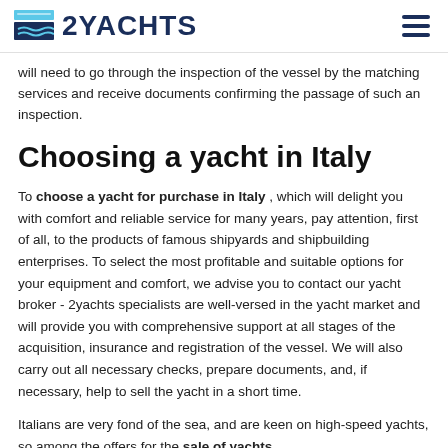2YACHTS
will need to go through the inspection of the vessel by the matching services and receive documents confirming the passage of such an inspection.
Choosing a yacht in Italy
To choose a yacht for purchase in Italy , which will delight you with comfort and reliable service for many years, pay attention, first of all, to the products of famous shipyards and shipbuilding enterprises. To select the most profitable and suitable options for your equipment and comfort, we advise you to contact our yacht broker - 2yachts specialists are well-versed in the yacht market and will provide you with comprehensive support at all stages of the acquisition, insurance and registration of the vessel. We will also carry out all necessary checks, prepare documents, and, if necessary, help to sell the yacht in a short time.
Italians are very fond of the sea, and are keen on high-speed yachts, so among the offers for the sale of yachts